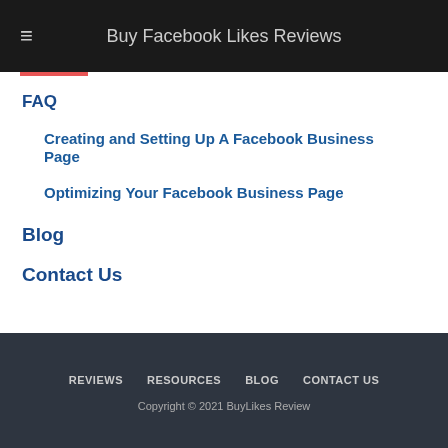Buy Facebook Likes Reviews
FAQ
Creating and Setting Up A Facebook Business Page
Optimizing Your Facebook Business Page
Blog
Contact Us
REVIEWS   RESOURCES   BLOG   CONTACT US
Copyright © 2021 BuyLikes Review